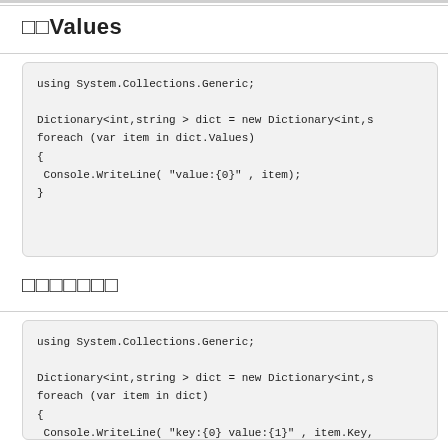□□Values
[Figure (screenshot): Code block showing C# Dictionary Values iteration using foreach loop with Console.WriteLine]
□□□□□□□
[Figure (screenshot): Code block showing C# Dictionary iteration over key-value pairs using foreach loop with Console.WriteLine]